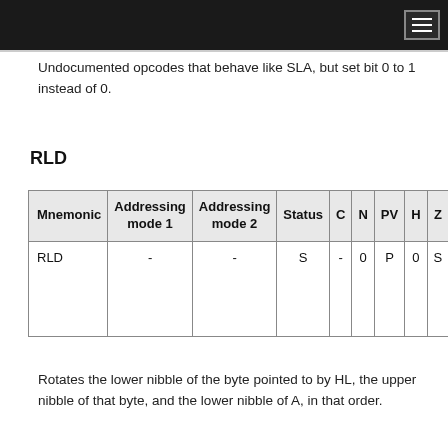Undocumented opcodes that behave like SLA, but set bit 0 to 1 instead of 0.
RLD
| Mnemonic | Addressing mode 1 | Addressing mode 2 | Status | C | N | PV | H | Z |
| --- | --- | --- | --- | --- | --- | --- | --- | --- |
| RLD | - | - | S | - | 0 | P | 0 | S |
Rotates the lower nibble of the byte pointed to by HL, the upper nibble of that byte, and the lower nibble of A, in that order.